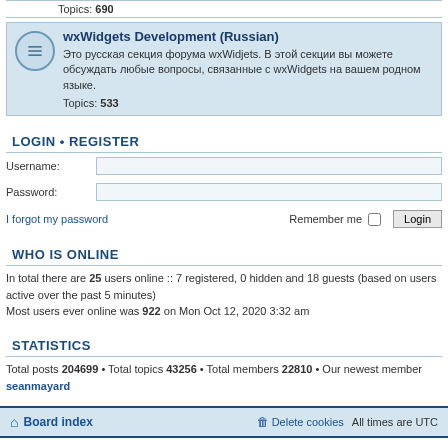Topics: 690
wxWidgets Development (Russian)
Это русская секция форума wxWidjets. В этой секции вы можете обсуждать любые вопросы, связанные с wxWidgets на вашем родном языке.
Topics: 533
LOGIN • REGISTER
Username:
Password:
I forgot my password    Remember me  Login
WHO IS ONLINE
In total there are 25 users online :: 7 registered, 0 hidden and 18 guests (based on users active over the past 5 minutes)
Most users ever online was 922 on Mon Oct 12, 2020 3:32 am
STATISTICS
Total posts 204699 • Total topics 43256 • Total members 22810 • Our newest member seanmayard
Board index    Delete cookies    All times are UTC
Powered by phpBB® Forum Software © phpBB Limited
Privacy | Terms